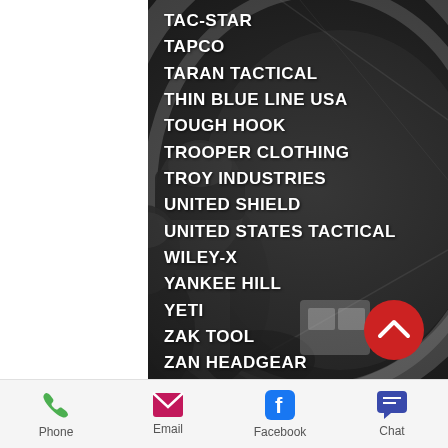[Figure (photo): Black and white photograph of tactical/military personnel in gear, set inside an arched tunnel or bunker. Background image for the brand list overlay.]
TAC-STAR
TAPCO
TARAN TACTICAL
THIN BLUE LINE USA
TOUGH HOOK
TROOPER CLOTHING
TROY INDUSTRIES
UNITED SHIELD
UNITED STATES TACTICAL
WILEY-X
YANKEE HILL
YETI
ZAK TOOL
ZAN HEADGEAR
ZERO TOLERANCE
Phone   Email   Facebook   Chat